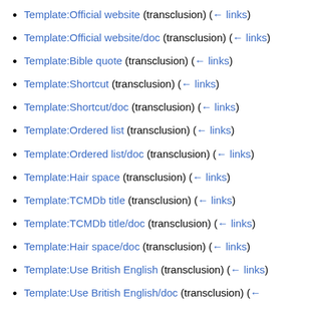Template:Official website (transclusion) (← links)
Template:Official website/doc (transclusion) (← links)
Template:Bible quote (transclusion) (← links)
Template:Shortcut (transclusion) (← links)
Template:Shortcut/doc (transclusion) (← links)
Template:Ordered list (transclusion) (← links)
Template:Ordered list/doc (transclusion) (← links)
Template:Hair space (transclusion) (← links)
Template:TCMDb title (transclusion) (← links)
Template:TCMDb title/doc (transclusion) (← links)
Template:Hair space/doc (transclusion) (← links)
Template:Use British English (transclusion) (← links)
Template:Use British English/doc (transclusion) (←